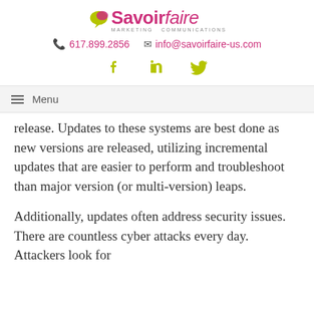[Figure (logo): Savoirfaire Marketing Communications logo with speech bubble icon]
617.899.2856   info@savoirfaire-us.com
[Figure (illustration): Social media icons: Facebook, LinkedIn, Twitter in olive/yellow-green color]
≡ Menu
release. Updates to these systems are best done as new versions are released, utilizing incremental updates that are easier to perform and troubleshoot than major version (or multi-version) leaps.
Additionally, updates often address security issues. There are countless cyber attacks every day. Attackers look for